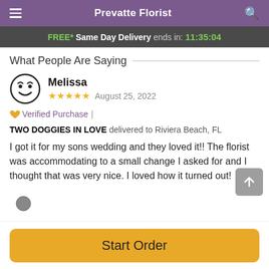Prevatte Florist
FREE* Same Day Delivery ends in: 11:35:04
What People Are Saying
Melissa
★★★★★ August 25, 2022
Verified Purchase | TWO DOGGIES IN LOVE delivered to Riviera Beach, FL
I got it for my sons wedding and they loved it!! The florist was accommodating to a small change I asked for and I thought that was very nice. I loved how it turned out!
Start Order